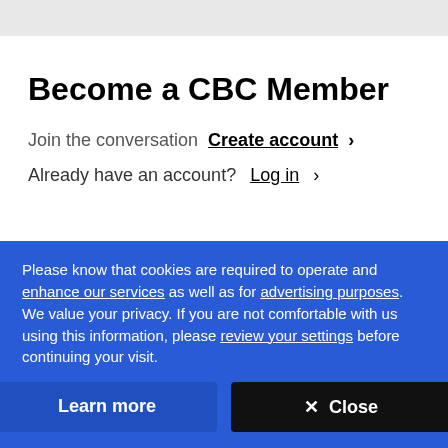Become a CBC Member
Join the conversation  Create account ›
Already have an account?  Log in ›
1  COMMENT
Please know that cookies are required to operate and enhance our services as well as for advertising purposes. We value your privacy. If you are not comfortable with us using this information, please review your settings before continuing your visit.
Learn more
✕  Close